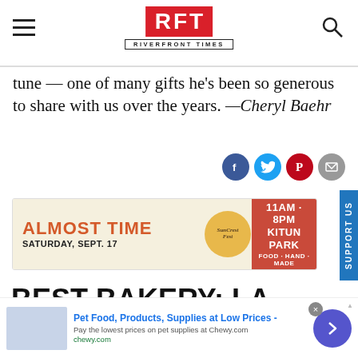RFT RIVERFRONT TIMES
tune — one of many gifts he's been so generous to share with us over the years. —Cheryl Baehr
[Figure (infographic): Social sharing icons: Facebook, Twitter, Pinterest, Email]
[Figure (infographic): Advertisement banner: ALMOST TIME SATURDAY, SEPT. 17 SunCrest Fest 11AM-8PM KITUN PARK FOOD HAND MADE]
BEST BAKERY: LA PÂTISSERIE CHOUQUETTE
[Figure (infographic): Bottom advertisement: Pet Food, Products, Supplies at Low Prices - Pay the lowest prices on pet supplies at Chewy.com - chewy.com]